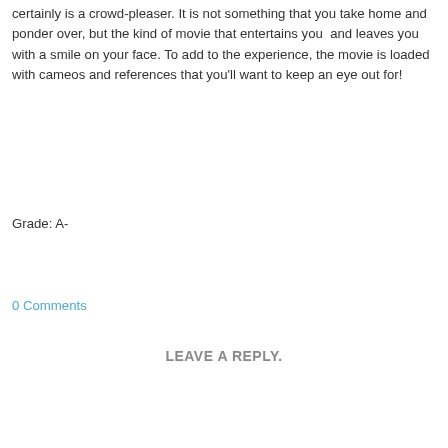certainly is a crowd-pleaser. It is not something that you take home and ponder over, but the kind of movie that entertains you  and leaves you with a smile on your face. To add to the experience, the movie is loaded with cameos and references that you'll want to keep an eye out for!
Grade: A-
0 Comments
LEAVE A REPLY.